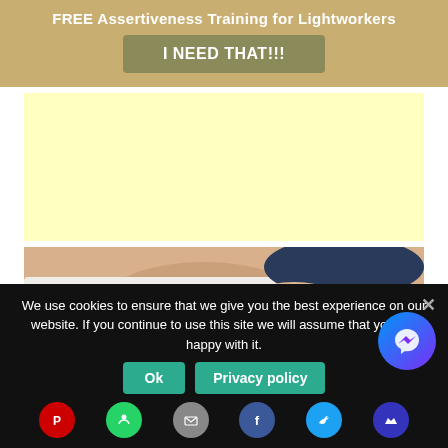FREE Assertiveness Training for Lightworkers
I NEED THAT!!!
[Figure (other): Yellow advertisement placeholder area]
[Figure (photo): Person writing with blue nail polish holding pen on paper]
We use cookies to ensure that we give you the best experience on our website. If you continue to use this site we will assume that you are happy with it.
Ok
Privacy policy